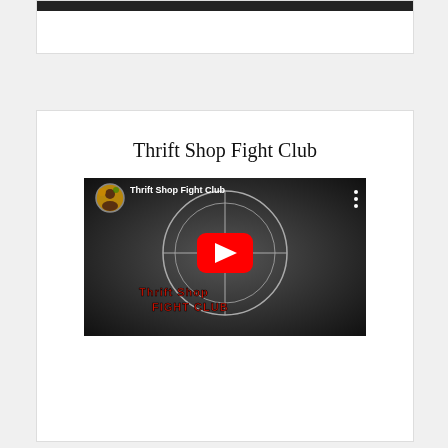[Figure (screenshot): Partial top card with dark bar visible at very top of page]
Thrift Shop Fight Club
[Figure (screenshot): YouTube video embed showing 'Thrift Shop Fight Club' video thumbnail with red play button, channel icon, video title overlay, three-dot menu, crosshair graphic, fight club text, and video controls showing 00:00 / 00:49 timestamp]
Instagram